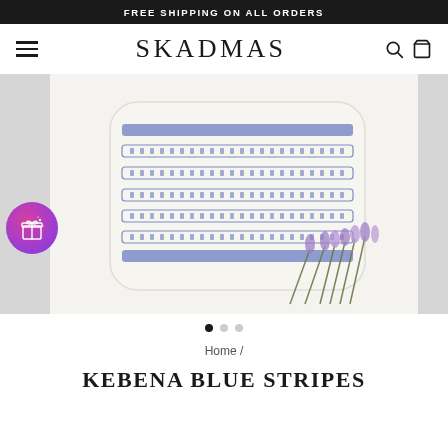FREE SHIPPING ON ALL ORDERS
SKADMAS
[Figure (photo): Product photo of a cream/off-white decorative pillow with blue horizontal stripes and dotted embroidery patterns, styled with a bunch of purple lavender flowers in the lower right corner, on a light gray/white background. A circular gift badge icon is visible on the left side.]
Home /
KEBENA BLUE STRIPES